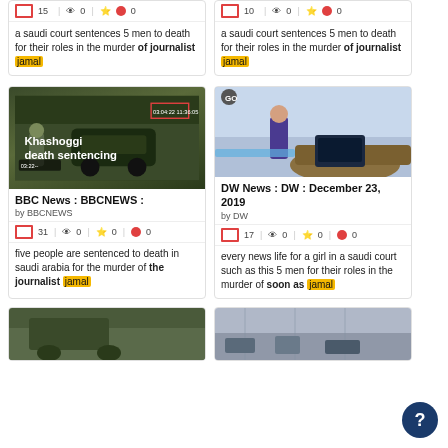a saudi court sentences 5 men to death for their roles in the murder of journalist jamal (card 1, stats: 15, 0, 0)
a saudi court sentences 5 men to death for their roles in the murder of journalist jamal (card 2, stats: 10, 0, 0)
[Figure (screenshot): Two news clip thumbnails side by side. Left: BBC News Khashoggi death sentencing surveillance video thumbnail showing a vehicle and person silhouette, with red bounding box overlay. Right: DW News studio scene with presenter standing at desk.]
BBC News : BBCNEWS :
by BBCNEWS
Stats: 31, 0, 0
five people are sentenced to death in saudi arabia for the murder of the journalist jamal
DW News : DW : December 23, 2019
by DW
Stats: 17, 0, 0
every news life for a girl in a saudi court such as this 5 men for their roles in the murder of soon as jamal
[Figure (screenshot): Two partial thumbnail images at bottom of page, partially cropped.]